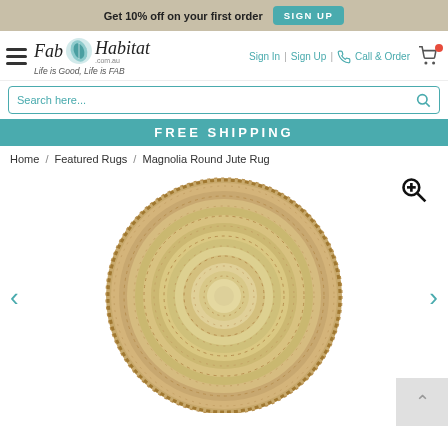Get 10% off on your first order  SIGN UP
[Figure (logo): Fab Habitat logo with leaf/plant icon and tagline 'Life is Good, Life is FAB']
Sign In | Sign Up | Call & Order
Search here...
FREE SHIPPING
Home / Featured Rugs / Magnolia Round Jute Rug
[Figure (photo): Round braided jute rug in natural tan/beige color, circular concentric pattern, viewed from above]